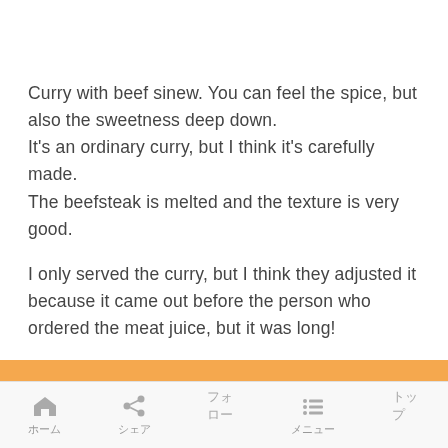Curry with beef sinew. You can feel the spice, but also the sweetness deep down.
It's an ordinary curry, but I think it's carefully made.
The beefsteak is melted and the texture is very good.
I only served the curry, but I think they adjusted it because it came out before the person who ordered the meat juice, but it was long!
ホーム　シェア　フォロー　メニュー　トップ